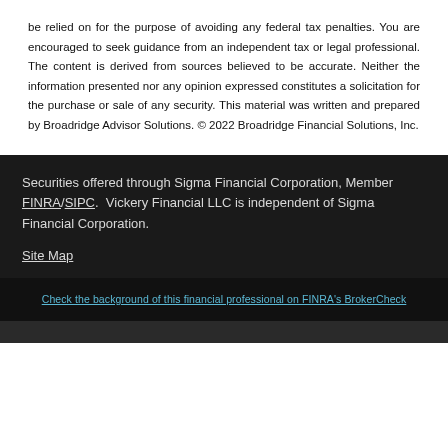be relied on for the purpose of avoiding any federal tax penalties. You are encouraged to seek guidance from an independent tax or legal professional. The content is derived from sources believed to be accurate. Neither the information presented nor any opinion expressed constitutes a solicitation for the purchase or sale of any security. This material was written and prepared by Broadridge Advisor Solutions. © 2022 Broadridge Financial Solutions, Inc.
Securities offered through Sigma Financial Corporation, Member FINRA/SIPC. Vickery Financial LLC is independent of Sigma Financial Corporation.
Site Map
Check the background of this financial professional on FINRA's BrokerCheck